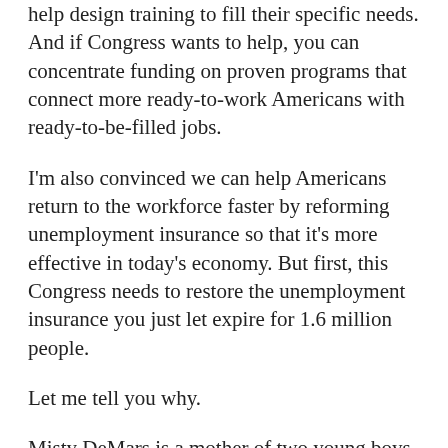help design training to fill their specific needs. And if Congress wants to help, you can concentrate funding on proven programs that connect more ready-to-work Americans with ready-to-be-filled jobs.
I'm also convinced we can help Americans return to the workforce faster by reforming unemployment insurance so that it's more effective in today's economy. But first, this Congress needs to restore the unemployment insurance you just let expire for 1.6 million people.
Let me tell you why.
Misty DeMars is a mother of two young boys. She'd been steadily employed since she was a teenager. She put herself through college. She'd never collected unemployment benefits. In May, she and her husband used their life savings to buy their first home. A week later, budget cuts claimed the job she loved. Last month, when their unemployment insurance was cut off, she sat